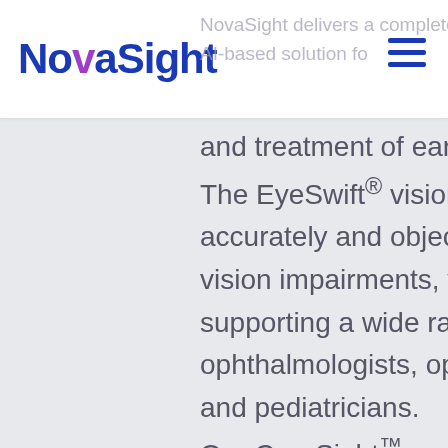NovaSight
NovaSight delivers a complete AI-based solution for detection and treatment of early vision disorders. The EyeSwift® vision assessment accurately and objectively screens vision impairments, within seconds, supporting a wide range of care: ophthalmologists, optometrists, and pediatricians. Our CureSight™ system treats lazy-eye while they watch a video of choice at the comfort of their home, replacing the outdated patching treatment. The CureSight™ system is designed...